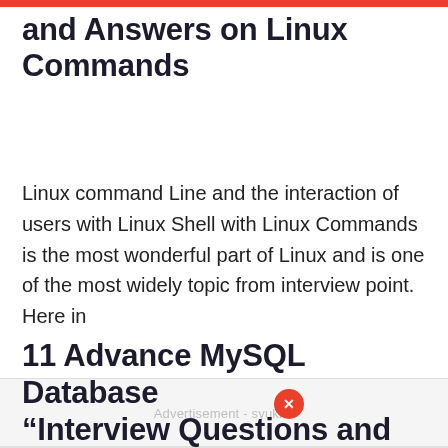and Answers on Linux Commands
Linux command Line and the interaction of users with Linux Shell with Linux Commands is the most wonderful part of Linux and is one of the most widely topic from interview point. Here in
[Figure (other): Advertisement overlay with close button (red circle with X)]
11 Advance MySQL Database “Interview Questions and Answers” for Linux Users